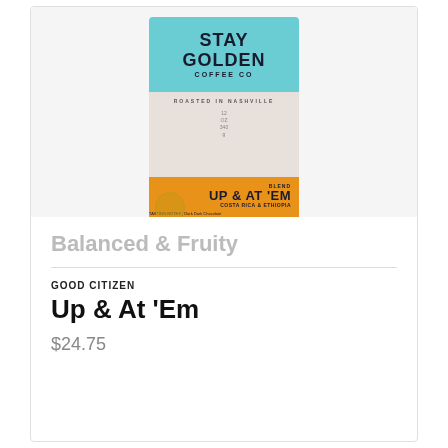[Figure (photo): A coffee bag from Stay Golden Coffee Co. with teal top, beige middle, and orange bottom section. The orange section reads 'UP & AT 'EM, COSTA RICA & ETHIOPIA'.]
Balanced & Fruity
GOOD CITIZEN
Up & At 'Em
$24.75